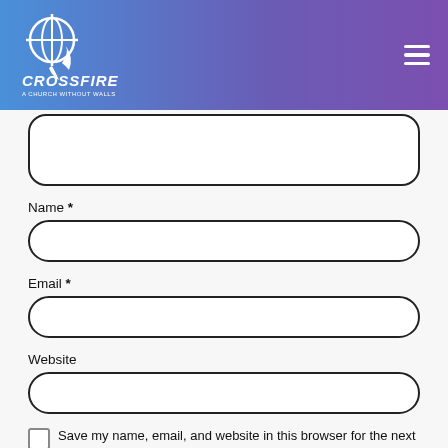Crossfire - A Church Without Walls
[Figure (logo): Crossfire church logo with globe and cross symbol, white text on blue-purple gradient header]
(text area input box - partially visible at top)
Name *
Email *
Website
Save my name, email, and website in this browser for the next time I comment.